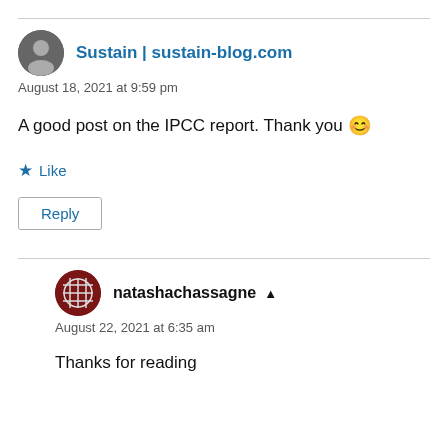Sustain | sustain-blog.com
August 18, 2021 at 9:59 pm
A good post on the IPCC report. Thank you 😊
Like
Reply
natashachassagne ▲
August 22, 2021 at 6:35 am
Thanks for reading